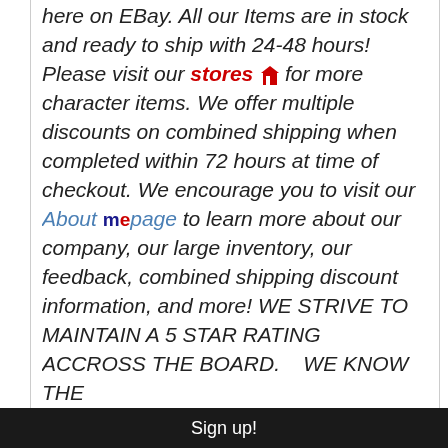here on EBay. All our Items are in stock and ready to ship with 24-48 hours! Please visit our stores for more character items. We offer multiple discounts on combined shipping when completed within 72 hours at time of checkout. We encourage you to visit our About me page to learn more about our company, our large inventory, our feedback, combined shipping discount information, and more! WE STRIVE TO MAINTAIN A 5 STAR RATING ACCROSS THE BOARD.   WE KNOW THE
Sign up!